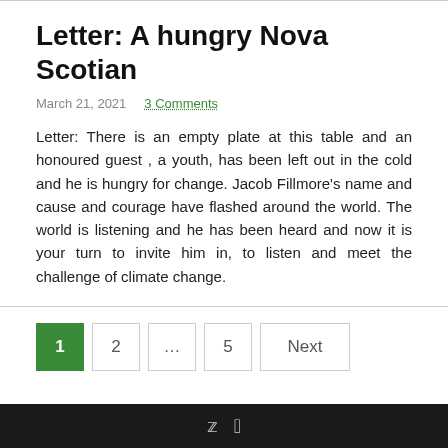Letter: A hungry Nova Scotian
March 21, 2021   3 Comments
Letter: There is an empty plate at this table and an honoured guest , a youth, has been left out in the cold and he is hungry for change. Jacob Fillmore's name and cause and courage have flashed around the world. The world is listening and he has been heard and now it is your turn to invite him in, to listen and meet the challenge of climate change.
Twitter Facebook icons